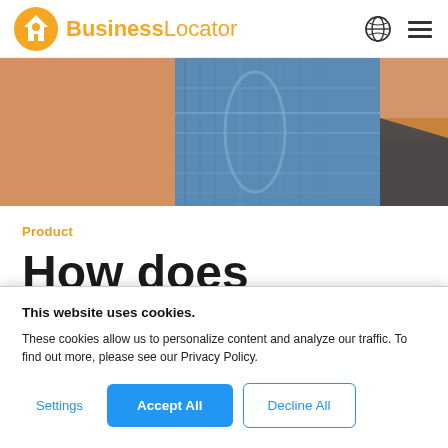BusinessLocator
[Figure (photo): Close-up photo of jeans fabric/denim on a wooden surface]
Product
How does
This website uses cookies.
These cookies allow us to personalize content and analyze our traffic. To find out more, please see our Privacy Policy.